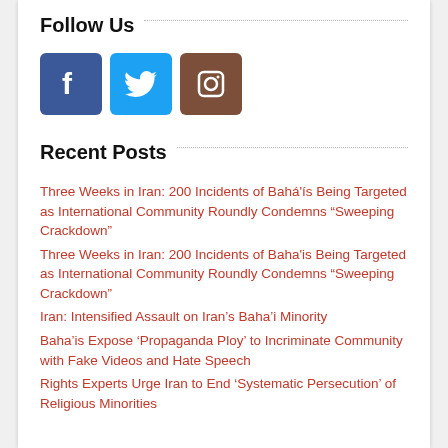Follow Us
[Figure (illustration): Three social media icons: Facebook (blue), Twitter (light blue), Instagram (brown)]
Recent Posts
Three Weeks in Iran: 200 Incidents of Bahá'ís Being Targeted as International Community Roundly Condemns “Sweeping Crackdown”
Three Weeks in Iran: 200 Incidents of Baha'is Being Targeted as International Community Roundly Condemns “Sweeping Crackdown”
Iran: Intensified Assault on Iran’s Baha'i Minority
Baha'is Expose ‘Propaganda Ploy’ to Incriminate Community with Fake Videos and Hate Speech
Rights Experts Urge Iran to End ‘Systematic Persecution’ of Religious Minorities